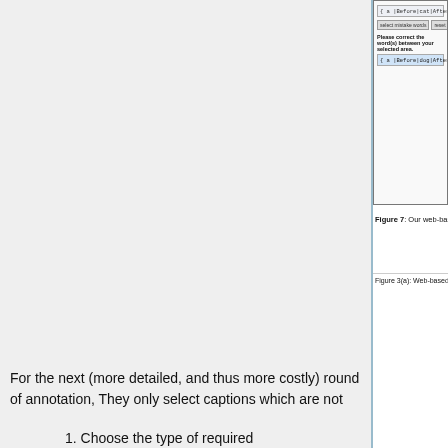[Figure (screenshot): Web-based annotation interface showing token lines with Before/After markers and correction buttons. Shows UI with token sequence '{a |Before|cat|After|} (sitting) (on a sidewalk) (next to a street.)' and buttons 'select mistake words' and 'reset selection', then label 'Please correct the word(s) between your selected area.' and a blue highlighted token line '{a |Before|dog|After|} (sitting) (on a sidewalk) (next to a street.)']
Figure 7: Our web-based...
Figure 3(a): Web-based feedback collection inte...
For the next (more detailed, and thus more costly) round of annotation, They only select captions which are not marked as either perfect or acceptable in the first round. Since these captions contain errors, the new annotator is required to provide detailed feedback about the mistakes. Annotators are asked to:
Choose the type of required correction (something " should be replaced", "is missing", or "should be deleted")